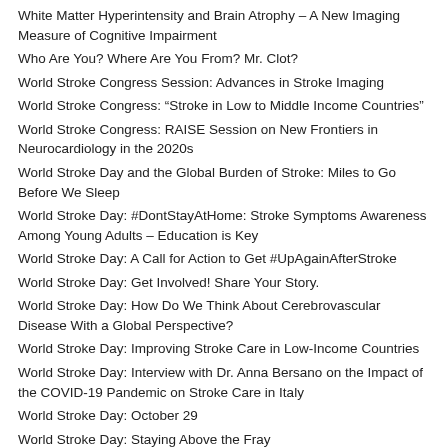White Matter Hyperintensity and Brain Atrophy – A New Imaging Measure of Cognitive Impairment
Who Are You? Where Are You From? Mr. Clot?
World Stroke Congress Session: Advances in Stroke Imaging
World Stroke Congress: “Stroke in Low to Middle Income Countries”
World Stroke Congress: RAISE Session on New Frontiers in Neurocardiology in the 2020s
World Stroke Day and the Global Burden of Stroke: Miles to Go Before We Sleep
World Stroke Day: #DontStayAtHome: Stroke Symptoms Awareness Among Young Adults – Education is Key
World Stroke Day: A Call for Action to Get #UpAgainAfterStroke
World Stroke Day: Get Involved! Share Your Story.
World Stroke Day: How Do We Think About Cerebrovascular Disease With a Global Perspective?
World Stroke Day: Improving Stroke Care in Low-Income Countries
World Stroke Day: Interview with Dr. Anna Bersano on the Impact of the COVID-19 Pandemic on Stroke Care in Italy
World Stroke Day: October 29
World Stroke Day: Staying Above the Fray
World Stroke Day: Stroke Care Advances in Armenia
World Stroke Day: The Long Journey of Revascularization Treatments for Ischemic Stroke: From Strict Patient Selection to Extending Time Windows